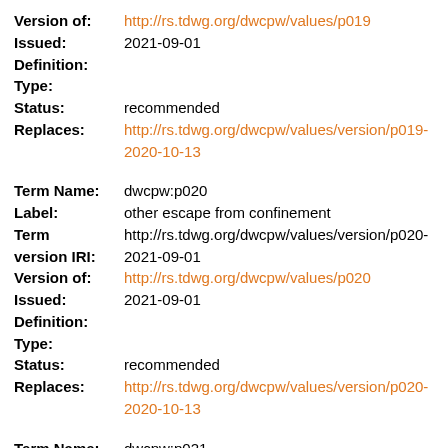Version of: http://rs.tdwg.org/dwcpw/values/p019
Issued: 2021-09-01
Definition:
Type:
Status: recommended
Replaces: http://rs.tdwg.org/dwcpw/values/version/p019-2020-10-13
Term Name: dwcpw:p020
Label: other escape from confinement
Term version IRI: http://rs.tdwg.org/dwcpw/values/version/p020-2021-09-01
Version of: http://rs.tdwg.org/dwcpw/values/p020
Issued: 2021-09-01
Definition:
Type:
Status: recommended
Replaces: http://rs.tdwg.org/dwcpw/values/version/p020-2020-10-13
Term Name: dwcpw:p021
Label: contaminant nursery material
Term version IRI: http://rs.tdwg.org/dwcpw/values/version/p021-...